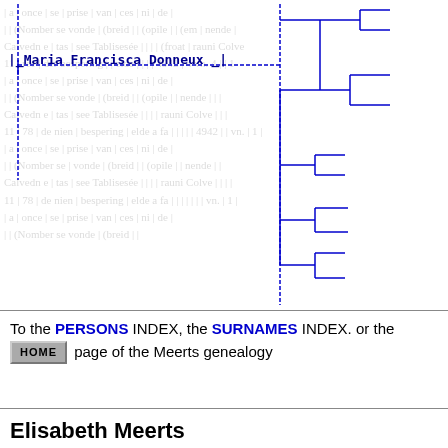[Figure (organizational-chart): Genealogy tree diagram showing Maria Francisca Donneux connected to a branching tree structure with multiple bracket-style nodes on the right side, rendered in blue dashed lines on a handwritten manuscript watermark background.]
To the PERSONS INDEX, the SURNAMES INDEX. or the HOME page of the Meerts genealogy
Elisabeth Meerts
BIRTH: ABT 1873, Alsemberg, Belge
DEATH: